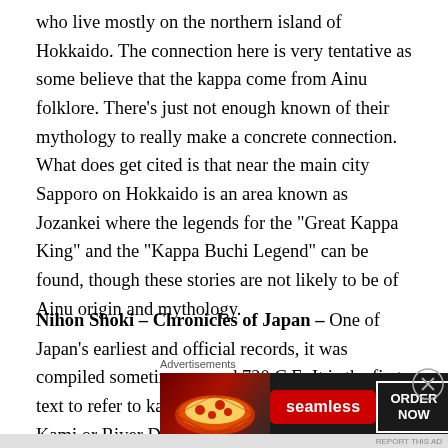who live mostly on the northern island of Hokkaido. The connection here is very tentative as some believe that the kappa come from Ainu folklore. There's just not enough known of their mythology to really make a concrete connection. What does get cited is that near the main city Sapporo on Hokkaido is an area known as Jozankei where the legends for the "Great Kappa King" and the "Kappa Buchi Legend" can be found, though these stories are not likely to be of Ainu origin and mythology.
Nihon Shoki – Chronicles of Japan – One of Japan's earliest and official records, it was compiled sometime around 720 C.E. It is the first text to refer to kappa where it is called Kawa no Kami or River Deity in this text.
Advertisements
[Figure (other): Seamless food delivery advertisement showing pizza image on left, Seamless logo in red badge in center, and ORDER NOW button in white border on dark background.]